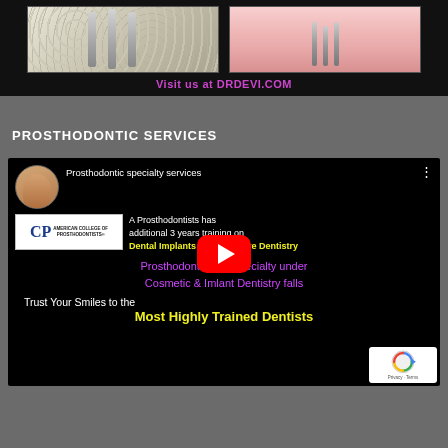[Figure (photo): Two dental/prosthetic images side by side on dark banner: left shows a bone cross-section with implant screws, right shows dental implants in gum tissue]
Visit us at DRDEVI.COM
PROSTHODONTIC SERVICES
[Figure (screenshot): YouTube video thumbnail for 'Prosthodontic specialty services' featuring a dentist portrait, American College of Prosthodontists logo, text about 3 years additional training on Dental Implants & Restorative Dentistry, Prosthodontics only specialty under Cosmetic & Implant Dentistry falls, Trust Your Smiles to the Most Highly Trained Dentists, with YouTube play button and reCAPTCHA badge]